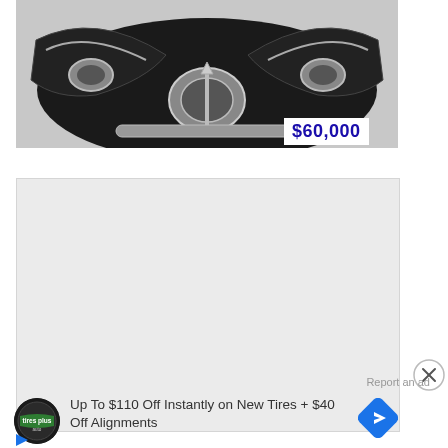[Figure (photo): Close-up front view of a vintage/classic car with chrome grille and distinctive styling, black and white or dark tones, viewed from above/front]
$60,000
[Figure (other): Gray placeholder rectangle, likely an advertisement or image loading area]
[Figure (other): Close button (X in circle) for dismissing the placeholder ad]
Report an ad
[Figure (logo): Tires Plus Auto circular logo]
Up To $110 Off Instantly on New Tires + $40 Off Alignments
[Figure (other): Blue diamond navigation/directions icon]